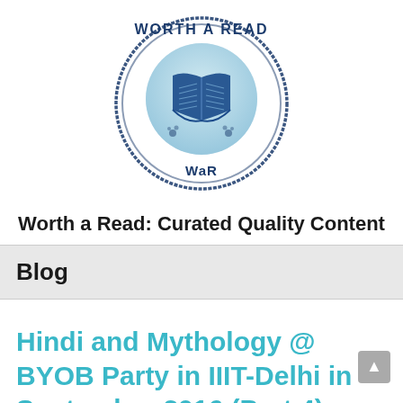[Figure (logo): Worth a Read (WaR) circular stamp logo with an open book illustration in blue tones]
Worth a Read: Curated Quality Content
Blog
Hindi and Mythology @ BYOB Party in IIIT-Delhi in September 2016 (Part 4)